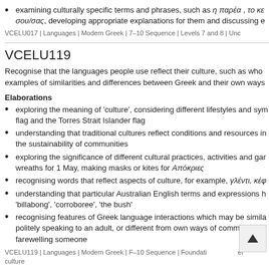examining culturally specific terms and phrases, such as η παρέα , το κε σου/σας, developing appropriate explanations for them and discussing e
VCELU017 | Languages | Modern Greek | 7–10 Sequence | Levels 7 and 8 | Unc
VCELU119
Recognise that the languages people use reflect their culture, such as who examples of similarities and differences between Greek and their own ways
Elaborations
exploring the meaning of 'culture', considering different lifestyles and sym flag and the Torres Strait Islander flag
understanding that traditional cultures reflect conditions and resources in the sustainability of communities
exploring the significance of different cultural practices, activities and gar wreaths for 1 May, making masks or kites for Απόκριες
recognising words that reflect aspects of culture, for example, γλέντι, κέφ
understanding that particular Australian English terms and expressions h 'billabong', 'corroboree', 'the bush'
recognising features of Greek language interactions which may be simila politely speaking to an adult, or different from own ways of communicatin farewelling someone
VCELU119 | Languages | Modern Greek | F–10 Sequence | Foundati el culture